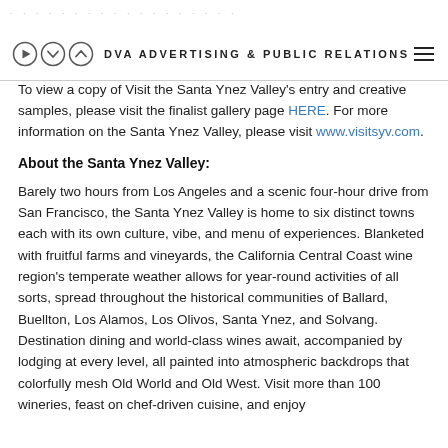DVA ADVERTISING & PUBLIC RELATIONS
To view a copy of Visit the Santa Ynez Valley's entry and creative samples, please visit the finalist gallery page HERE. For more information on the Santa Ynez Valley, please visit www.visitsyv.com.
About the Santa Ynez Valley:
Barely two hours from Los Angeles and a scenic four-hour drive from San Francisco, the Santa Ynez Valley is home to six distinct towns each with its own culture, vibe, and menu of experiences. Blanketed with fruitful farms and vineyards, the California Central Coast wine region's temperate weather allows for year-round activities of all sorts, spread throughout the historical communities of Ballard, Buellton, Los Alamos, Los Olivos, Santa Ynez, and Solvang. Destination dining and world-class wines await, accompanied by lodging at every level, all painted into atmospheric backdrops that colorfully mesh Old World and Old West. Visit more than 100 wineries, feast on chef-driven cuisine, and enjoy